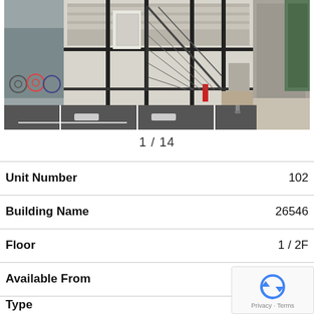[Figure (photo): Exterior photo of a modern Japanese apartment building with black steel frame structure, exterior staircase, parking spaces with wheel stoppers, and a narrow alley on the right side.]
1 / 14
| Field | Value |
| --- | --- |
| Unit Number | 102 |
| Building Name | 26546 |
| Floor | 1 / 2F |
| Available From | Sep 1 |
| Type | Apa |